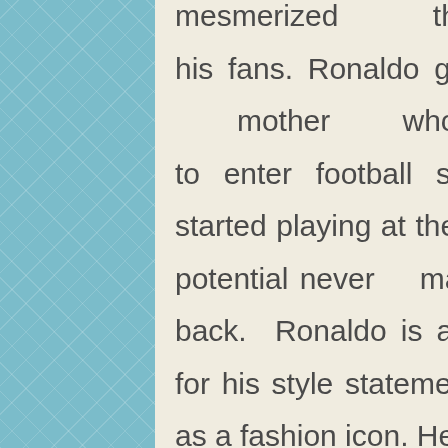mesmerized the audiences and his fans. Ronaldo gives credit to his mother who encouraged him to enter football sports. Ronaldo started playing at the age of 8 and his potential never made him turn back. Ronaldo is also quite popular for his style statements and is known as a fashion icon. He has